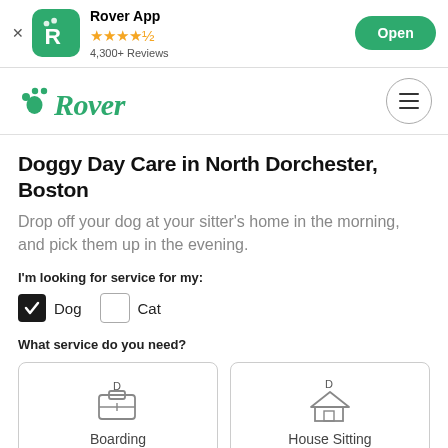Rover App — 4,300+ Reviews — Open
[Figure (logo): Rover logo with paw print and cursive 'Rover' text in green, hamburger menu button]
Doggy Day Care in North Dorchester, Boston
Drop off your dog at your sitter's home in the morning, and pick them up in the evening.
I'm looking for service for my:
Dog (checked), Cat (unchecked)
What service do you need?
Boarding
House Sitting